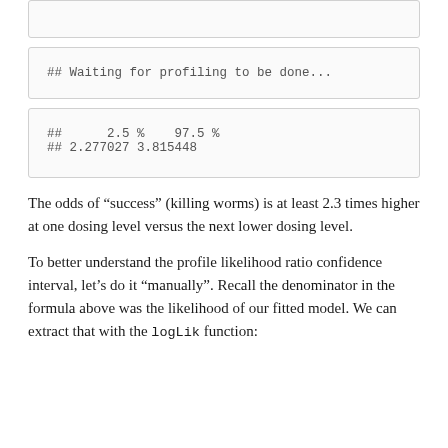[Figure (screenshot): Code output box (partial, top clipped) - empty/clipped content]
[Figure (screenshot): Code output box showing: ## Waiting for profiling to be done...]
[Figure (screenshot): Code output box showing confidence interval: ## 2.5 % 97.5 % ## 2.277027 3.815448]
The odds of “success” (killing worms) is at least 2.3 times higher at one dosing level versus the next lower dosing level.
To better understand the profile likelihood ratio confidence interval, let’s do it “manually”. Recall the denominator in the formula above was the likelihood of our fitted model. We can extract that with the logLik function: